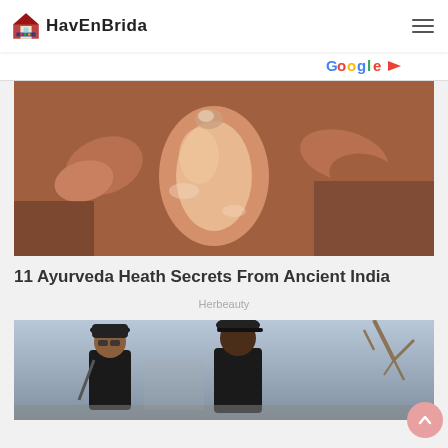HavEnBrida
[Figure (screenshot): Ad banner strip with colored logo/text (Google or similar ad network) on right side]
[Figure (photo): Close-up photo of hands giving an Ayurvedic oil massage to a knee joint]
11 Ayurveda Heath Secrets From Ancient India
Herbeauty
[Figure (photo): Photo of a woman and a man dressed in black walking outdoors near trees — celebrity paparazzi style photo]